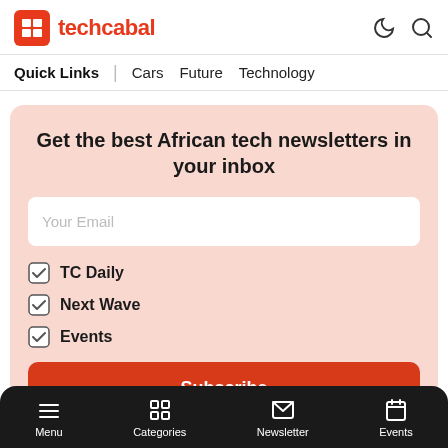techcabal
Quick Links | Cars Future Technology
Get the best African tech newsletters in your inbox
Your Email
TC Daily
Next Wave
Events
Subscribe
Menu | Categories | Newsletter | Events